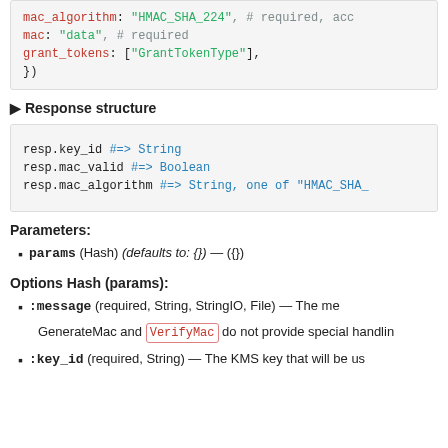[Figure (screenshot): Code block showing mac_algorithm, mac, grant_tokens fields with red/green/blue syntax highlighting]
▶ Response structure
[Figure (screenshot): Code block showing resp.key_id, resp.mac_valid, resp.mac_algorithm with blue comments]
Parameters:
params (Hash) (defaults to: {}) — ({})
Options Hash (params):
:message (required, String, StringIO, File) — The me...
GenerateMac and VerifyMac do not provide special handlin...
:key_id (required, String) — The KMS key that will be us...